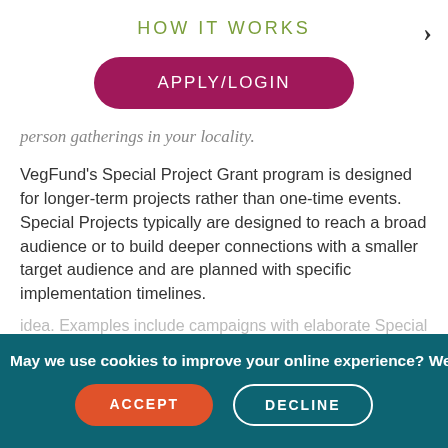HOW IT WORKS
[Figure (other): APPLY/LOGIN button — rounded pill-shaped button in dark pink/maroon color with white uppercase text]
person gatherings in your locality.
VegFund's Special Project Grant program is designed for longer-term projects rather than one-time events. Special Projects typically are designed to reach a broad audience or to build deeper connections with a smaller target audience and are planned with specific implementation timelines.
May we use cookies to improve your online experience? We
[Figure (other): Cookie consent banner with ACCEPT (orange button) and DECLINE (outlined button) options on dark teal background]